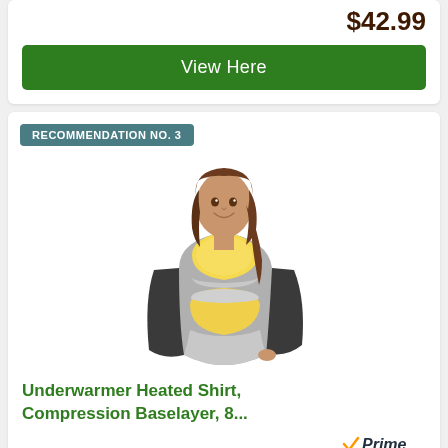$42.99
View Here
RECOMMENDATION NO. 3
[Figure (photo): Woman wearing a yellow heated vest/compression baselayer over a dark long-sleeve shirt with blue jeans, smiling and looking to the side.]
Underwarmer Heated Shirt, Compression Baselayer, 8...
Prime